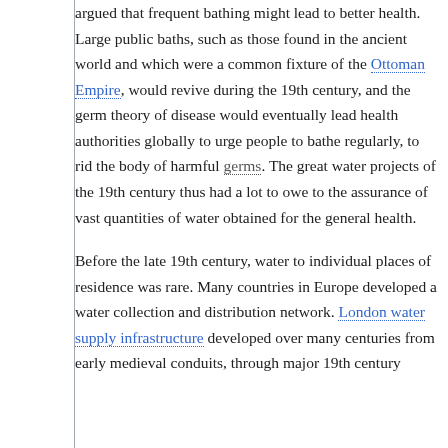argued that frequent bathing might lead to better health. Large public baths, such as those found in the ancient world and which were a common fixture of the Ottoman Empire, would revive during the 19th century, and the germ theory of disease would eventually lead health authorities globally to urge people to bathe regularly, to rid the body of harmful germs. The great water projects of the 19th century thus had a lot to owe to the assurance of vast quantities of water obtained for the general health.
Before the late 19th century, water to individual places of residence was rare. Many countries in Europe developed a water collection and distribution network. London water supply infrastructure developed over many centuries from early medieval conduits, through major 19th century